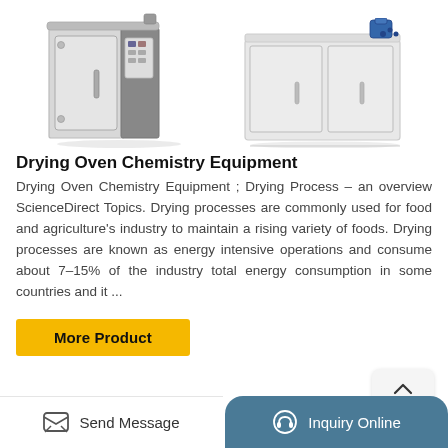[Figure (photo): Two drying oven machines side by side — left is a cylindrical stainless steel oven with control panel, right is a large white rectangular industrial oven with blue motor on top]
Drying Oven Chemistry Equipment
Drying Oven Chemistry Equipment ; Drying Process – an overview ScienceDirect Topics. Drying processes are commonly used for food and agriculture's industry to maintain a rising variety of foods. Drying processes are known as energy intensive operations and consume about 7–15% of the industry total energy consumption in some countries and it ...
More Product
Send Message   Inquiry Online